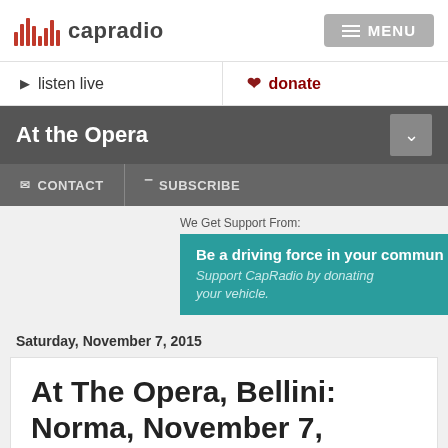capradio | MENU
listen live | donate
At the Opera
CONTACT | SUBSCRIBE
We Get Support From:
Be a driving force in your commun
Support CapRadio by donating your vehicle.
Saturday, November 7, 2015
At The Opera, Bellini: Norma, November 7, 2015